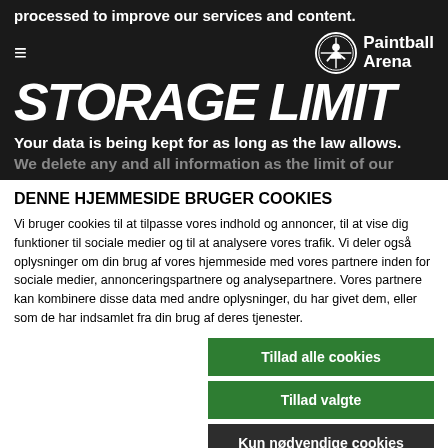processed to improve our services and content.
[Figure (logo): Paintball Arena logo with circle icon and text]
STORAGE LIMIT
Your data is being kept for as long as the law allows.
We delete any and all information as the limit of our
DENNE HJEMMESIDE BRUGER COOKIES
Vi bruger cookies til at tilpasse vores indhold og annoncer, til at vise dig funktioner til sociale medier og til at analysere vores trafik. Vi deler også oplysninger om din brug af vores hjemmeside med vores partnere inden for sociale medier, annonceringspartnere og analysepartnere. Vores partnere kan kombinere disse data med andre oplysninger, du har givet dem, eller som de har indsamlet fra din brug af deres tjenester.
Tillad alle cookies
Tillad valgte
Kun nødvendige cookies
Nødvendig  Præferencer  Statistik  Marketing  Vis detaljer